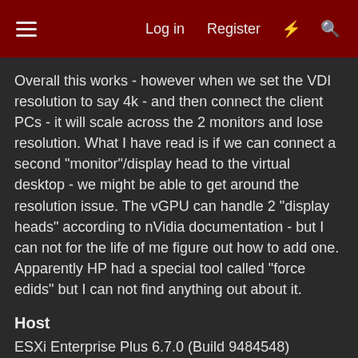Log in  Register
Overall this works - however when we set the VDI resolution to say 4k - and then connect the client PCs - it will scale across the 2 monitors and lose resolution. What I have read is if we can connect a second "monitor"/display head to the virtual desktop - we might be able to get around the resolution issue. The vGPU can handle 2 "display heads" according to nVidia documentation - but I can not for the life of me figure out how to add one. Apparently HP had a special tool called "force edids" but I can not find anything out about it.
Host
ESXi Enterprise Plus 6.7.0 (Build 9484548)
vCenter Standard 6.7 (Build 8170087)
nVidia Tesla P40 GPU (Shared - profile
Guests
Windows 10 1809 (Build 17763.348)
vGPU Profile: P40-1Q